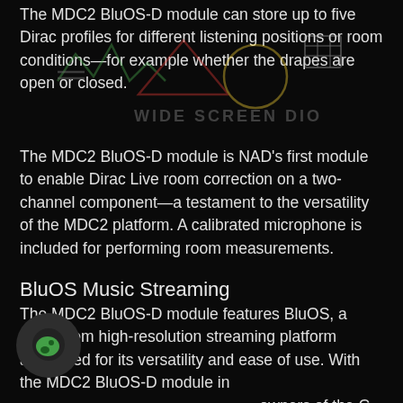The MDC2 BluOS-D module can store up to five Dirac profiles for different listening positions or room conditions—for example whether the drapes are open or closed.
The MDC2 BluOS-D module is NAD's first module to enable Dirac Live room correction on a two-channel component—a testament to the versatility of the MDC2 platform. A calibrated microphone is included for performing room measurements.
BluOS Music Streaming
The MDC2 BluOS-D module features BluOS, a multi-room high-resolution streaming platform acclaimed for its versatility and ease of use. With the MDC2 BluOS-D module installed, owners of the C 399 and future MDC2-enabled components can access hundreds of Internet radio stations and over 20 streaming services, including several that